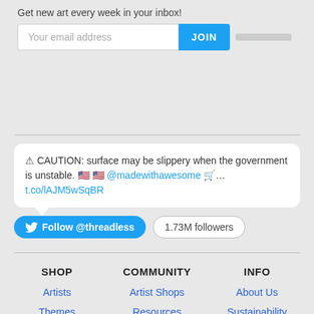Get new art every week in your inbox!
Your email address | JOIN
⚠ CAUTION: surface may be slippery when the government is unstable. 🇺🇸 🇺🇸 @madewithawesome 🛒… t.co/lAJM5wSqBR
Follow @threadless | 1.73M followers
SHOP
Artists
Themes
Apparel
Headwear
Accessories
COMMUNITY
Artist Shops
Resources
Community
Social
Promo
INFO
About Us
Sustainability
Our Values
Diversity & Inclusion